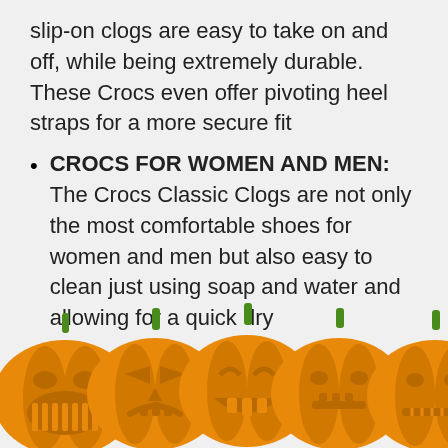slip-on clogs are easy to take on and off, while being extremely durable. These Crocs even offer pivoting heel straps for a more secure fit
CROCS FOR WOMEN AND MEN: The Crocs Classic Clogs are not only the most comfortable shoes for women and men but also easy to clean just using soap and water and allowing for a quick dry
[Figure (illustration): Row of five orange Halloween jack-o'-lantern pumpkins with green stems and various carved faces, glowing from within, arranged side by side along the bottom of the page.]